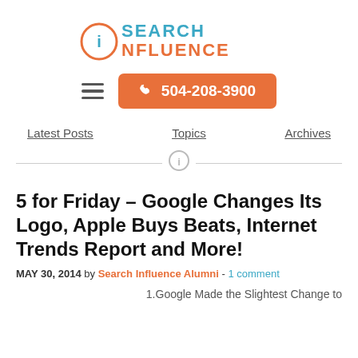[Figure (logo): Search Influence logo with circular 'i' icon, SEARCH in blue and INFLUENCE in orange]
[Figure (infographic): Navigation bar with hamburger menu icon and orange phone button showing 504-208-3900]
Latest Posts   Topics   Archives
[Figure (logo): Small circular Search Influence icon used as divider]
5 for Friday – Google Changes Its Logo, Apple Buys Beats, Internet Trends Report and More!
MAY 30, 2014 by Search Influence Alumni - 1 comment
1.Google Made the Slightest Change to